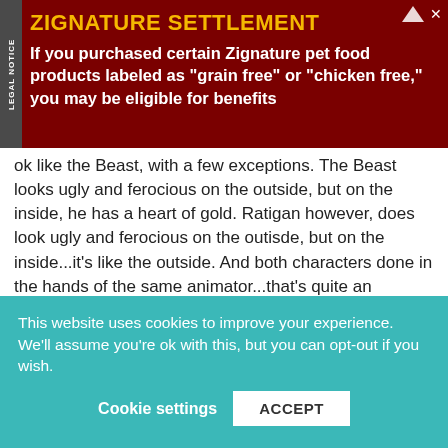[Figure (other): Advertisement banner for Zignature Settlement legal notice with dark red background, yellow title text 'ZIGNATURE SETTLEMENT' and white body text about pet food products]
ok like the Beast, with a few exceptions. The Beast looks ugly and ferocious on the outside, but on the inside, he has a heart of gold. Ratigan however, does look ugly and ferocious on the outisde, but on the inside...it's like the outside. And both characters done in the hands of the same animator...that's quite an accomplishment.
2  |  Reply
Haley Gilbertson
8 years ago
He is like the prime reason why I love the Great Mouse Detective!
Now if you excuse me, reading this amazing article is making
This website uses cookies to improve your experience. We'll assume you're ok with this, but you can opt-out if you wish.
Cookie settings  ACCEPT